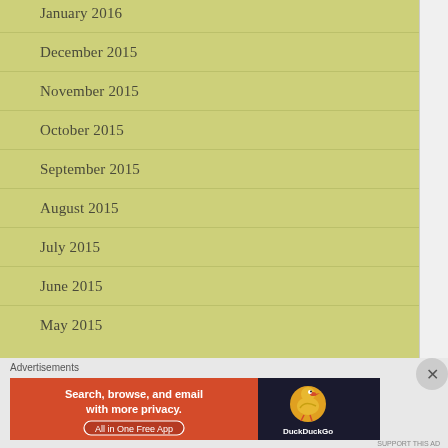January 2016
December 2015
November 2015
October 2015
September 2015
August 2015
July 2015
June 2015
May 2015
Advertisements
[Figure (other): DuckDuckGo advertisement banner: Search, browse, and email with more privacy. All in One Free App. DuckDuckGo logo on dark background.]